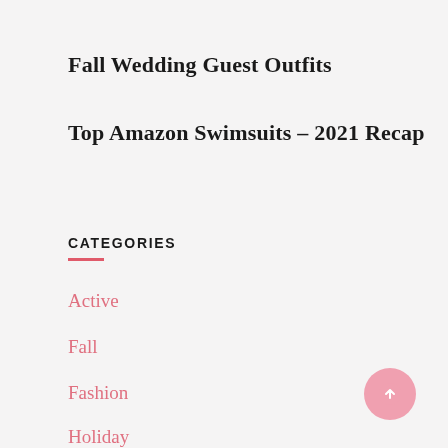Fall Wedding Guest Outfits
Top Amazon Swimsuits – 2021 Recap
CATEGORIES
Active
Fall
Fashion
Holiday
Holiday Gifts